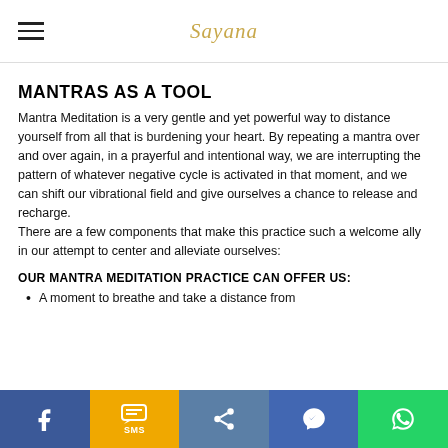Sayana
MANTRAS AS A TOOL
Mantra Meditation is a very gentle and yet powerful way to distance yourself from all that is burdening your heart. By repeating a mantra over and over again, in a prayerful and intentional way, we are interrupting the pattern of whatever negative cycle is activated in that moment, and we can shift our vibrational field and give ourselves a chance to release and recharge.
There are a few components that make this practice such a welcome ally in our attempt to center and alleviate ourselves:
OUR MANTRA MEDITATION PRACTICE CAN OFFER US:
A moment to breathe and take a distance from